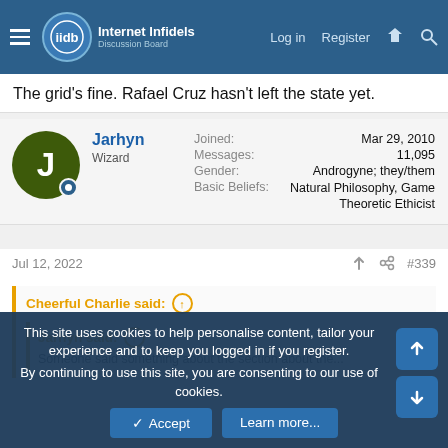Internet Infidels — Log in  Register
The grid's fine. Rafael Cruz hasn't left the state yet.
Jarhyn
Wizard
Joined: Mar 29, 2010
Messages: 11,095
Gender: Androgyne; they/them
Basic Beliefs: Natural Philosophy, Game Theoretic Ethicist
Jul 12, 2022  #339
Cheerful Charlie said: ↑
Jarhyn said: ↑
This site uses cookies to help personalise content, tailor your experience and to keep you logged in if you register.
By continuing to use this site, you are consenting to our use of cookies.